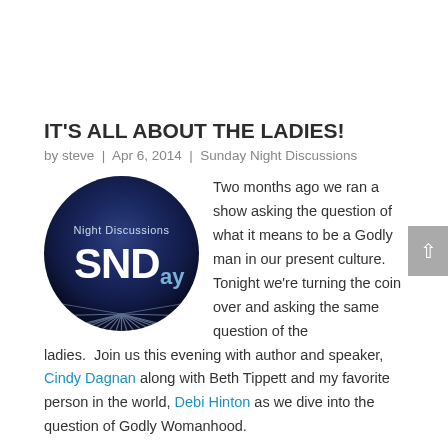IT'S ALL ABOUT THE LADIES!
by steve | Apr 6, 2014 | Sunday Night Discussions
[Figure (logo): Circular dark navy logo for 'Sunday Night Discussions' (SNDay) with radiating light beams at the bottom]
Two months ago we ran a show asking the question of what it means to be a Godly man in our present culture. Tonight we're turning the coin over and asking the same question of the ladies.  Join us this evening with author and speaker, Cindy Dagnan along with Beth Tippett and my favorite person in the world, Debi Hinton as we dive into the question of Godly Womanhood.